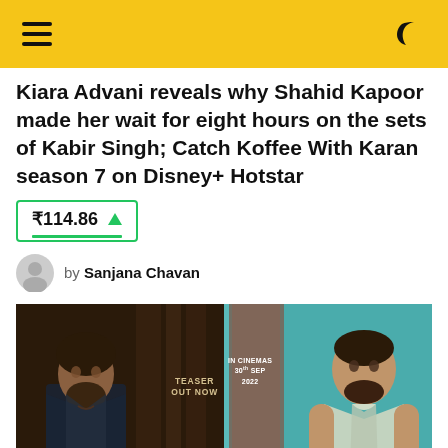Navigation bar with hamburger menu and dark mode icon
Kiara Advani reveals why Shahid Kapoor made her wait for eight hours on the sets of Kabir Singh; Catch Koffee With Karan season 7 on Disney+ Hotstar
₹114.86 ▲
by Sanjana Chavan
[Figure (photo): Two movie promotional images side by side: left shows a bearded man in dark clothing with 'TEASER OUT NOW' text, right shows a muscular man in light polo shirt with 'IN CINEMAS 30TH SEP 2022' text]